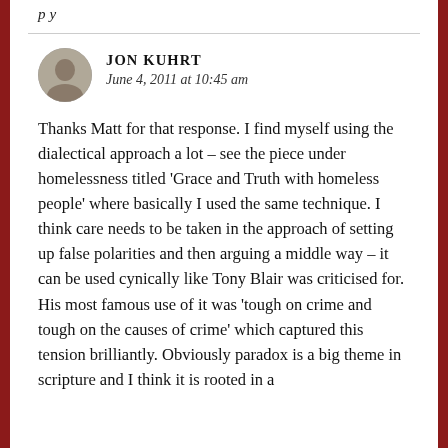p y
JON KUHRT
June 4, 2011 at 10:45 am
Thanks Matt for that response. I find myself using the dialectical approach a lot – see the piece under homelessness titled 'Grace and Truth with homeless people' where basically I used the same technique. I think care needs to be taken in the approach of setting up false polarities and then arguing a middle way – it can be used cynically like Tony Blair was criticised for. His most famous use of it was 'tough on crime and tough on the causes of crime' which captured this tension brilliantly. Obviously paradox is a big theme in scripture and I think it is rooted in a